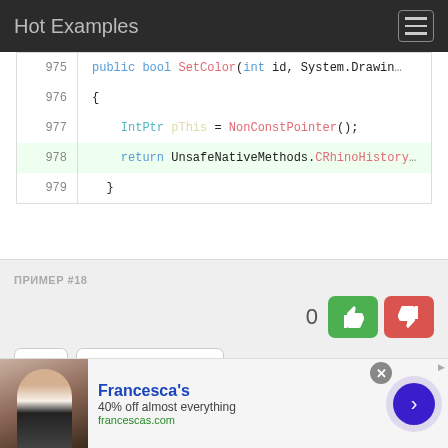Hot Examples
[Figure (screenshot): Code snippet showing C# method SetColor lines 975-979 with syntax highlighting. Line 978 is highlighted in green. Code: public bool SetColor(int id, System.Drawin... / { / IntPtr pThis = NonConstPointer(); / return UnsafeNativeMethods.CRhinoHistory... / }]
ПРИМЕР #18
0
Показать файл
Файл: rhinosdkdisplaypipeline.cs
[Figure (photo): Advertisement banner for Francesca's: 40% off almost everything. francescas.com]